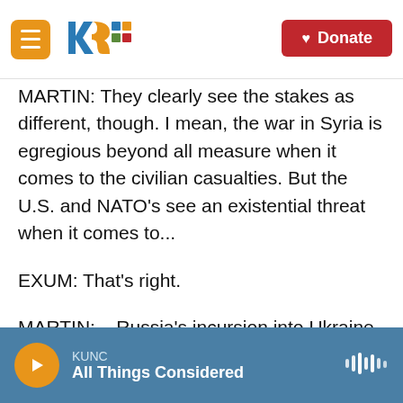KUNC | Donate
MARTIN: They clearly see the stakes as different, though. I mean, the war in Syria is egregious beyond all measure when it comes to the civilian casualties. But the U.S. and NATO's see an existential threat when it comes to...
EXUM: That's right.
MARTIN: ...Russia's incursion into Ukraine.
EXUM: Yeah, that's right. That's right. But it's not just the fact that we've been sending all these weapons to the Ukrainians. We've been almost bragging about them. And when you look at the
KUNC | All Things Considered